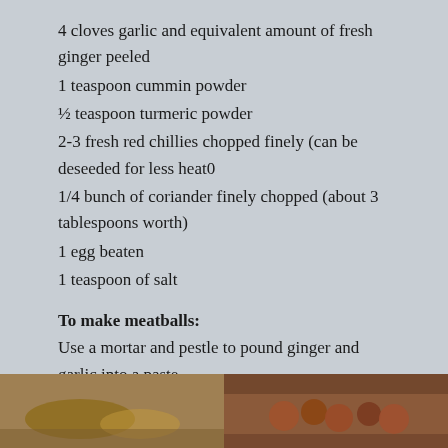4 cloves garlic and equivalent amount of fresh ginger peeled
1 teaspoon cummin powder
½ teaspoon turmeric powder
2-3 fresh red chillies chopped finely (can be deseeded for less heat0
1/4 bunch of coriander finely chopped (about 3 tablespoons worth)
1 egg beaten
1 teaspoon of salt
To make meatballs:
Use a mortar and pestle to pound ginger and garlic into a paste.
[Figure (photo): Two photos side by side showing food preparation - left photo shows raw ingredients, right photo shows meatballs]